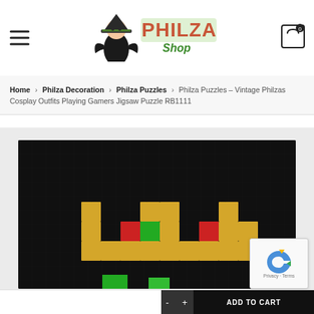Philza Shop – navigation header with hamburger menu and cart icon (0 items)
Home > Philza Decoration > Philza Puzzles > Philza Puzzles – Vintage Philzas Cosplay Outfits Playing Gamers Jigsaw Puzzle RB1111
[Figure (photo): Jigsaw puzzle image on dark background showing a pixel-art style yellow crown shape with red and green accent blocks, partially visible bottom showing green pixel blocks. The puzzle pieces are interlocked on a black background.]
ADD TO CART